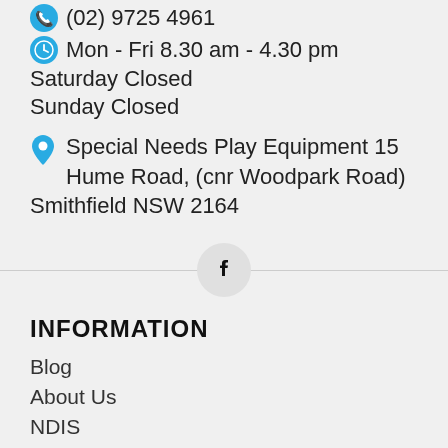(02) 9725 4961
Mon - Fri 8.30 am - 4.30 pm
Saturday Closed
Sunday Closed
Special Needs Play Equipment 15 Hume Road, (cnr Woodpark Road)
Smithfield NSW 2164
[Figure (logo): Facebook icon in a circular grey button]
INFORMATION
Blog
About Us
NDIS
How to order
Delivery Information